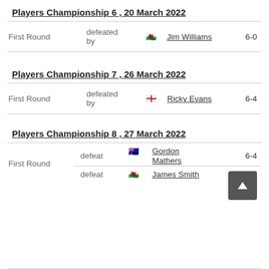Players Championship 6, 20 March 2022
| Round | Result | Player | Score |
| --- | --- | --- | --- |
| First Round | defeated by | Jim Williams (Wales) | 6-0 |
Players Championship 7, 26 March 2022
| Round | Result | Player | Score |
| --- | --- | --- | --- |
| First Round | defeated by | Ricky Evans (England) | 6-4 |
Players Championship 8, 27 March 2022
| Round | Result | Player | Score |
| --- | --- | --- | --- |
| First Round | defeat | Gordon Mathers (Australia) | 6-4 |
| Second Round | defeat | James Smith (Wales) | 6-5 |